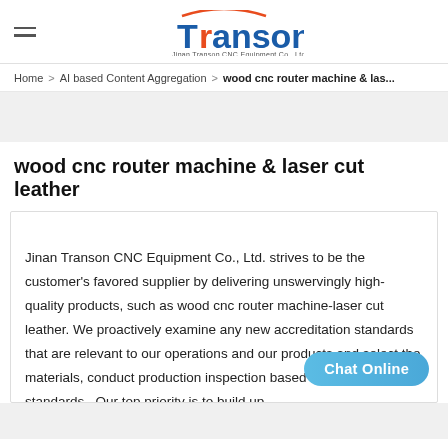Transon — Jinan Transon CNC Equipment Co., Ltd.
Home > AI based Content Aggregation > wood cnc router machine & las...
wood cnc router machine & laser cut leather
Jinan Transon CNC Equipment Co., Ltd. strives to be the customer's favored supplier by delivering unswervingly high-quality products, such as wood cnc router machine-laser cut leather. We proactively examine any new accreditation standards that are relevant to our operations and our products and select the materials, conduct production inspection based on these standards.. Our top priority is to build up
Chat Online